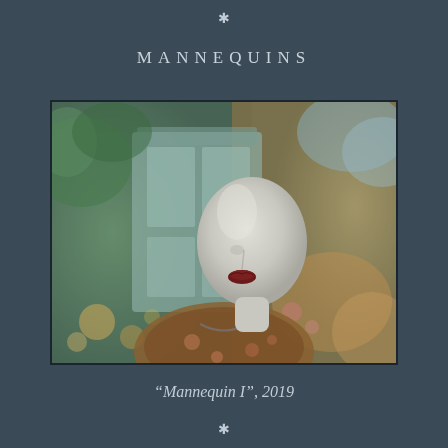MANNEQUINS
[Figure (photo): A close-up photograph of a white female mannequin head with dark red lips, wearing a brown floral jacket with a necklace. The background is blurred showing a pale green door/window facade with trees and foliage.]
“Mannequin I”, 2019